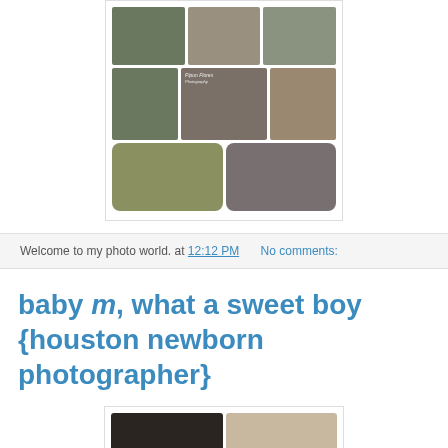[Figure (photo): Photo collage of couples in outdoor and indoor settings, arranged in three rows with varying aspect ratios, some with rounded corners. A watermark logo is visible on the center image of the second row.]
Welcome to my photo world.  at 12:12 PM    No comments:
baby m, what a sweet boy {houston newborn photographer}
[Figure (photo): Two side-by-side newborn baby photos, partially visible at the bottom of the page.]